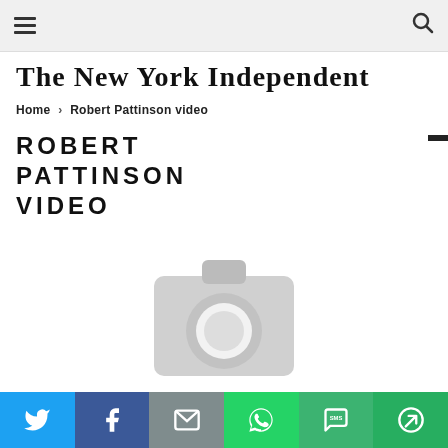≡  [navigation]  🔍
THE NEW YORK INDEPENDENT
Home > Robert Pattinson video
ROBERT PATTINSON VIDEO
[Figure (photo): Placeholder camera icon image for Robert Pattinson video article]
Share bar with Twitter, Facebook, Email, WhatsApp, SMS, More buttons